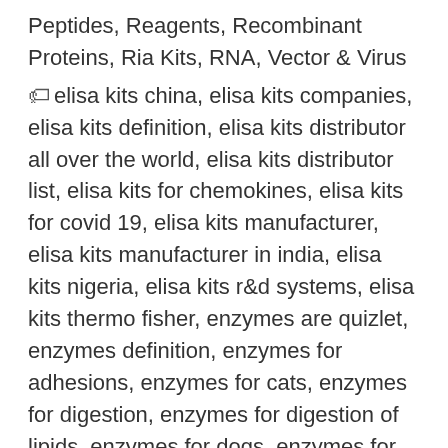Peptides, Reagents, Recombinant Proteins, Ria Kits, RNA, Vector & Virus
elisa kits china, elisa kits companies, elisa kits definition, elisa kits distributor all over the world, elisa kits distributor list, elisa kits for chemokines, elisa kits for covid 19, elisa kits manufacturer, elisa kits manufacturer in india, elisa kits nigeria, elisa kits r&d systems, elisa kits thermo fisher, enzymes are quizlet, enzymes definition, enzymes for adhesions, enzymes for cats, enzymes for digestion, enzymes for digestion of lipids, enzymes for dogs, enzymes for dogs joints, enzymes for drain, enzymes for drain pipes, enzymes for fat, enzymes for gluten,